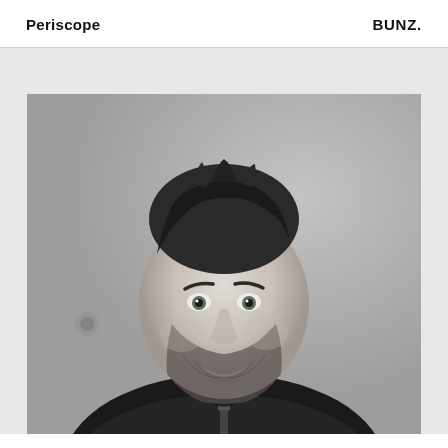Periscope   BUNZ.
[Figure (photo): Black and white portrait photo of a smiling man with short dark hair, stubble beard, wearing a dark hoodie, against a concrete wall background.]